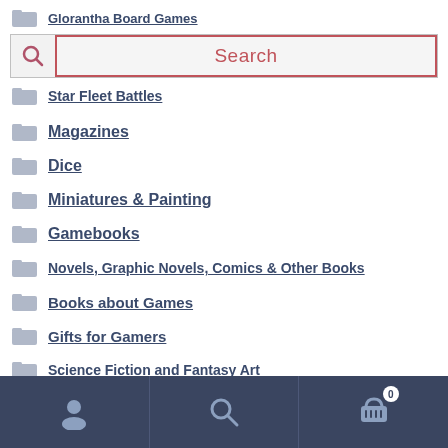Glorantha Board Games
[Figure (screenshot): Search bar with magnifying glass icon and red-bordered search input field showing 'Search' placeholder text]
Star Fleet Battles
Magazines
Dice
Miniatures & Painting
Gamebooks
Novels, Graphic Novels, Comics & Other Books
Books about Games
Gifts for Gamers
Science Fiction and Fantasy Art
Videogame RPGs and other RPG software
[Figure (screenshot): Mobile bottom navigation bar with user/account icon, search icon, and shopping cart icon with badge showing 0]